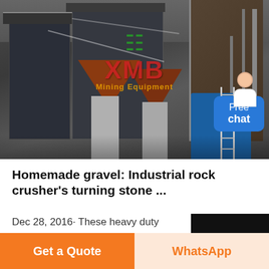[Figure (photo): Industrial rock crusher facility with large conical hoppers, concrete pillars, metal structures, and a blue storage bin with ladder. XMB Mining Equipment logo watermark visible in center.]
Homemade gravel: Industrial rock crusher's turning stone ...
Dec 28, 2016· These heavy duty industrial rock crusher's make light work of turning even the
Get a Quote
WhatsApp